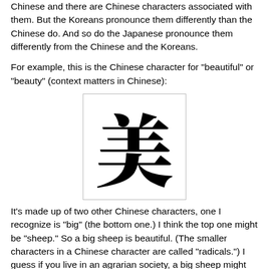Chinese and there are Chinese characters associated with them.  But the Koreans pronounce them differently than the Chinese do. And so do the Japanese pronounce them differently from the Chinese and the Koreans.
For example, this is the Chinese character for "beautiful" or "beauty" (context matters in Chinese):
[Figure (illustration): Large Chinese character 美 (beautiful/beauty) displayed in a bordered box]
It's made up of two other Chinese characters, one I recognize is "big" (the bottom one.) I think the top one might be "sheep." So a big sheep is beautiful. (The smaller characters in a Chinese character are called "radicals.") I guess if you live in an agrarian society, a big sheep might be beautiful.
Koreans pronounce it as "mi" (or "me"). In Chinese it's